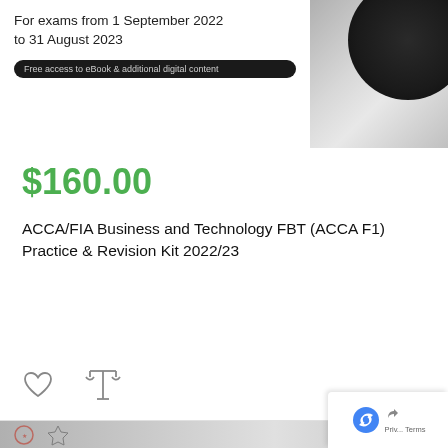[Figure (screenshot): Book cover image showing text 'For exams from 1 September 2022 to 31 August 2023' with an ebook badge, and a dark circular design element on the right side]
$160.00
ACCA/FIA Business and Technology FBT (ACCA F1) Practice & Revision Kit 2022/23
[Figure (other): Green ADD TO CART button with shopping cart icon]
[Figure (other): Wishlist heart icon and compare scales icon]
[Figure (photo): Bottom banner showing partial product image with certification badges and privacy/terms reCAPTCHA box]